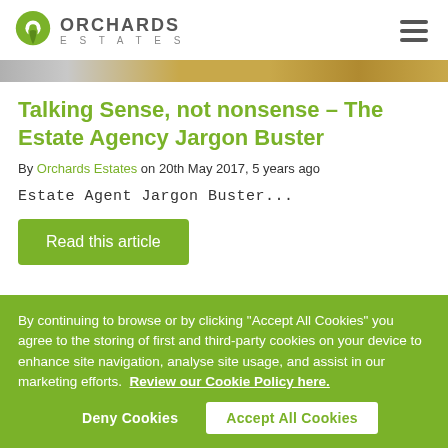[Figure (logo): Orchards Estates logo with green map pin icon and text 'ORCHARDS ESTATES']
[Figure (photo): Decorative hero banner strip with grey and golden/brown gradient tones]
Talking Sense, not nonsense – The Estate Agency Jargon Buster
By Orchards Estates on 20th May 2017, 5 years ago
Estate Agent Jargon Buster...
Read this article
By continuing to browse or by clicking "Accept All Cookies" you agree to the storing of first and third-party cookies on your device to enhance site navigation, analyse site usage, and assist in our marketing efforts.  Review our Cookie Policy here.
Deny Cookies
Accept All Cookies